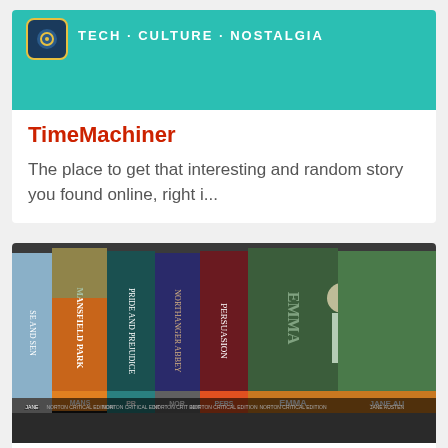[Figure (screenshot): TimeMachiner website/app card with teal header showing logo icon and TECH · CULTURE · NOSTALGIA tagline]
TimeMachiner
The place to get that interesting and random story you found online, right i...
[Figure (photo): Photograph of Jane Austen book spines on a shelf including Mansfield Park, Pride and Prejudice, Northanger Abbey, Persuasion, Emma, Sense and Sensibility — Norton Critical Editions]
The Austen Connection
At the Austen Connection, we be telling i...